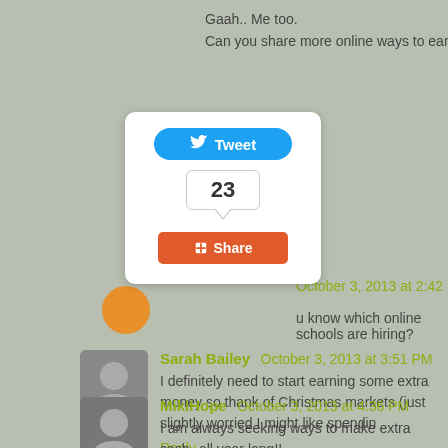Gaah.. Me too.
Can you share more online ways to earn money? I need mor
[Figure (screenshot): Social sharing widget with Tweet button, count of 23, and Share button]
u know which online schools are hiring?
October 3, 2013 at 2:42 PM
Sarah Bailey  October 3, 2013 at 3:51 PM
I definitely need to start earning some extra money so thank of Christmas markets (just slightly worried I might like spendin
Reply
MikiHope  October 3, 2013 at 4:36 PM
I am always seeking ways to make extra cash--all year long!!
Reply